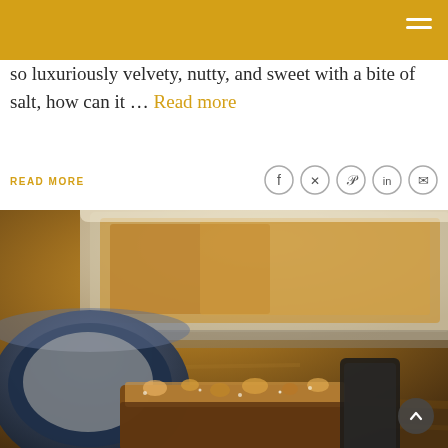so luxuriously velvety, nutty, and sweet with a bite of salt, how can it … Read more
READ MORE
[Figure (photo): Close-up food photo showing a baking dish and a dark bowl with a bar or brownie topped with crumbled toppings, placed on a dark wooden surface.]